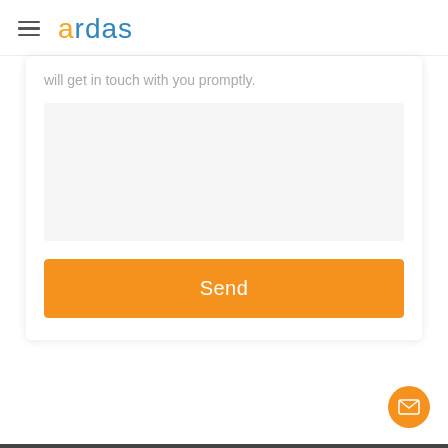ardas
will get in touch with you promptly.
[Figure (other): Orange Send button on a contact form card]
[Figure (other): Orange circular mail/envelope icon button in bottom-right corner]